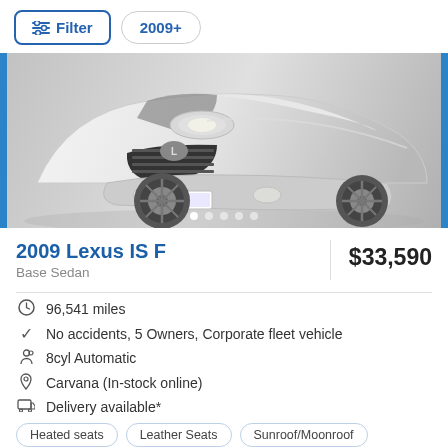Filter  2009+
[Figure (photo): Front view of a silver 2009 Lexus IS F sedan on a grey background, with blue side borders and carousel dots at the bottom.]
2009 Lexus IS F
$33,590
Base Sedan
96,541 miles
No accidents, 5 Owners, Corporate fleet vehicle
8cyl Automatic
Carvana (In-stock online)
Delivery available*
Heated seats   Leather Seats   Sunroof/Moonroof